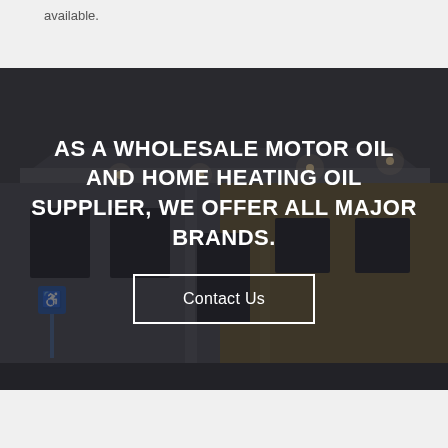available.
[Figure (photo): Dark exterior photo of a commercial building with brick and siding facade, recessed lighting under the eaves, and a handicap parking sign visible in the foreground. Overlaid with semi-transparent dark overlay and centered white text.]
AS A WHOLESALE MOTOR OIL AND HOME HEATING OIL SUPPLIER, WE OFFER ALL MAJOR BRANDS.
Contact Us